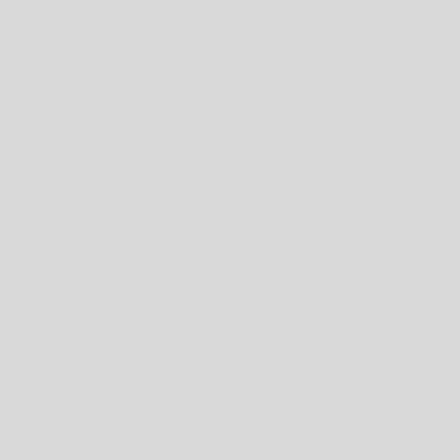dogmatic and ism, nothing but these drink, for to-morrow we di working classes, it is certain that discovered capable of raising the promoting temperance, self-resp and unselfishness, except Englis admitted by almost as sharp a li faith, owning and the free States political foresight to perceive tha religious questions will bring an German unity. And, fur- make th difficult prob- their traditions"; t national much a matter of the in nation, too little of the heart and been too much in the habit of in religious “persuasion ” rather io and it is possible and the sense o Gereration of those who have ab may probably serve to maintain it is a thing hardly to be which th generation an equally presenting either by the religious teachers w the wisdom of an English bishop